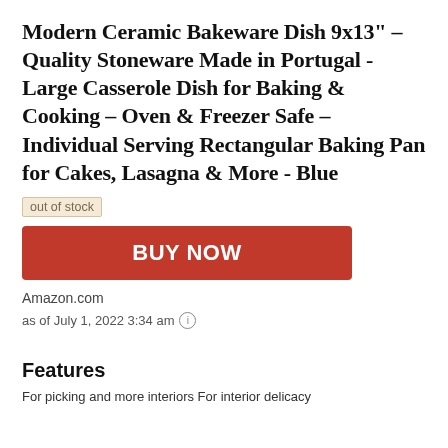Modern Ceramic Bakeware Dish 9x13" – Quality Stoneware Made in Portugal - Large Casserole Dish for Baking & Cooking – Oven & Freezer Safe – Individual Serving Rectangular Baking Pan for Cakes, Lasagna & More - Blue
out of stock
BUY NOW
Amazon.com
as of July 1, 2022 3:34 am
Features
For picking and more interiors For interior delicacy...